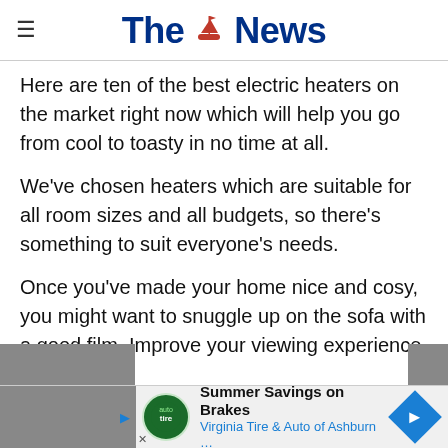The News
Here are ten of the best electric heaters on the market right now which will help you go from cool to toasty in no time at all.
We've chosen heaters which are suitable for all room sizes and all budgets, so there's something to suit everyone's needs.
Once you've made your home nice and cosy, you might want to snuggle up on the sofa with a good film. Improve your viewing experience with o...ou fancy...
[Figure (other): Advertisement banner: Summer Savings on Brakes, Virginia Tire & Auto of Ashburn, with logo and directional arrow icon]